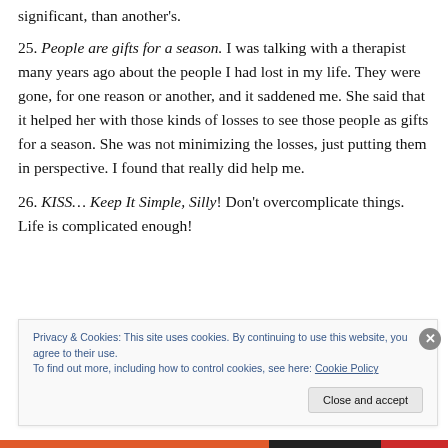significant, than another's.
25. People are gifts for a season. I was talking with a therapist many years ago about the people I had lost in my life. They were gone, for one reason or another, and it saddened me. She said that it helped her with those kinds of losses to see those people as gifts for a season. She was not minimizing the losses, just putting them in perspective. I found that really did help me.
26. KISS… Keep It Simple, Silly! Don't overcomplicate things. Life is complicated enough!
Privacy & Cookies: This site uses cookies. By continuing to use this website, you agree to their use. To find out more, including how to control cookies, see here: Cookie Policy